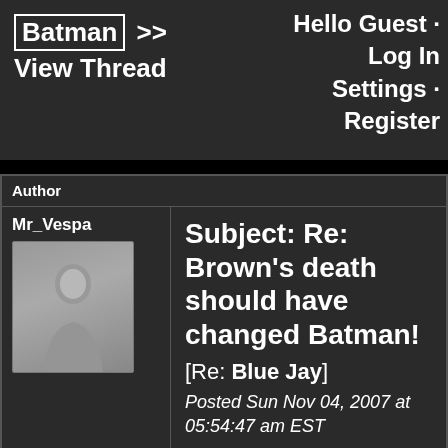Hello Guest · Log In · Settings · Register
Batman >> View Thread
| Author |  |
| --- | --- |
| Mr_Vespa | Subject: Re: Brown's death should have changed Batman!
[Re: Blue Jay]
Posted Sun Nov 04, 2007 at 05:54:47 am EST |
E...